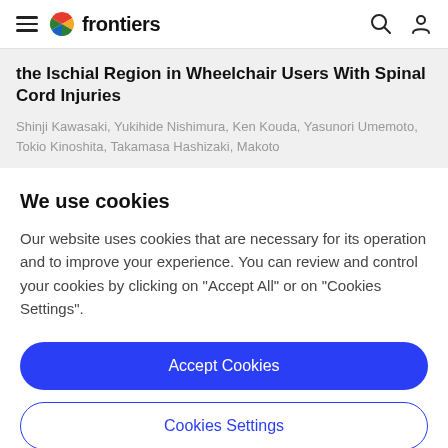frontiers
the Ischial Region in Wheelchair Users With Spinal Cord Injuries
Shinji Kawasaki, Yukihide Nishimura, Ken Kouda, Yasunori Umemoto, Tokio Kinoshita, Takamasa Hashizaki, Makoto
We use cookies
Our website uses cookies that are necessary for its operation and to improve your experience. You can review and control your cookies by clicking on "Accept All" or on "Cookies Settings".
Accept Cookies
Cookies Settings